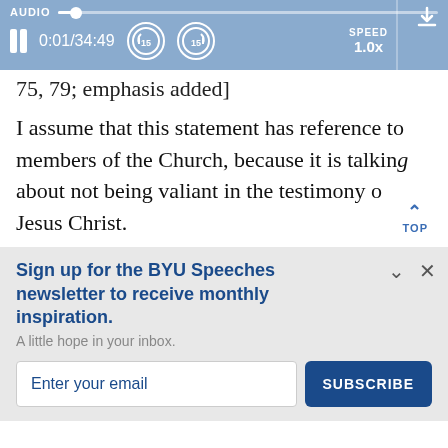[Figure (screenshot): Audio player bar with pause button, time display 0:01/34:49, rewind and forward 15s buttons, speed 1.0x, and download button]
75, 79; emphasis added]
I assume that this statement has reference to members of the Church, because it is talking about not being valiant in the testimony of Jesus Christ.
Sign up for the BYU Speeches newsletter to receive monthly inspiration.
A little hope in your inbox.
Enter your email
SUBSCRIBE